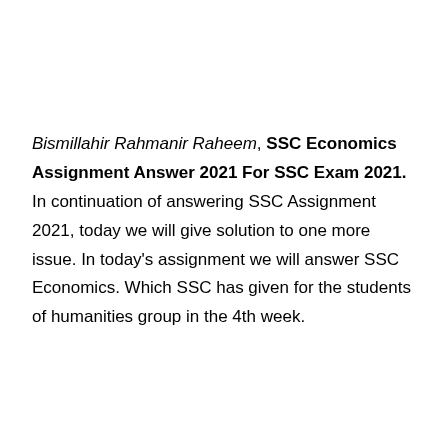Bismillahir Rahmanir Raheem, SSC Economics Assignment Answer 2021 For SSC Exam 2021. In continuation of answering SSC Assignment 2021, today we will give solution to one more issue. In today's assignment we will answer SSC Economics. Which SSC has given for the students of humanities group in the 4th week.